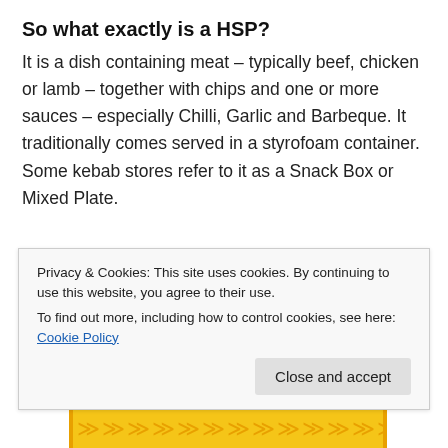So what exactly is a HSP?
It is a dish containing meat – typically beef, chicken or lamb – together with chips and one or more sauces – especially Chilli, Garlic and Barbeque. It traditionally comes served in a styrofoam container. Some kebab stores refer to it as a Snack Box or Mixed Plate.
[Figure (infographic): Infographic with yellow background and red text reading 'WHAT IS A HALAL SNACK PACK?' with a lower section showing '· CHILLI SAUCE ·' and a red drizzle sauce illustration]
Privacy & Cookies: This site uses cookies. By continuing to use this website, you agree to their use.
To find out more, including how to control cookies, see here: Cookie Policy
Close and accept